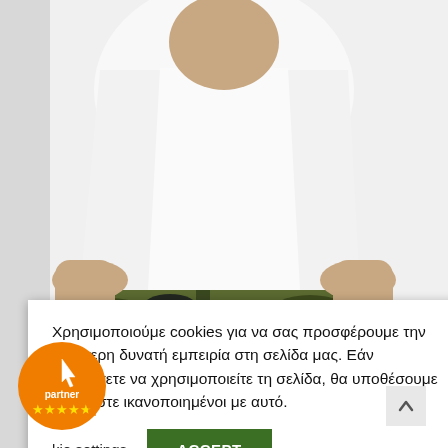[Figure (photo): A man's torso wearing a white t-shirt and camouflage cargo pants, shown from waist to mid-thigh. The camo pattern is olive green, black, and brown. A cargo pocket is visible on the right thigh.]
Χρησιμοποιούμε cookies για να σας προσφέρουμε την καλύτερη δυνατή εμπειρία στη σελίδα μας. Εάν συνεχίσετε να χρησιμοποιείτε τη σελίδα, θα υποθέσουμε πως είστε ικανοποιημένοι με αυτό.
Cookie settings
ACCEPT
[Figure (logo): Orange circular partner badge with a cursor/hand icon, the word 'partner', and 4.5 gold stars rating.]